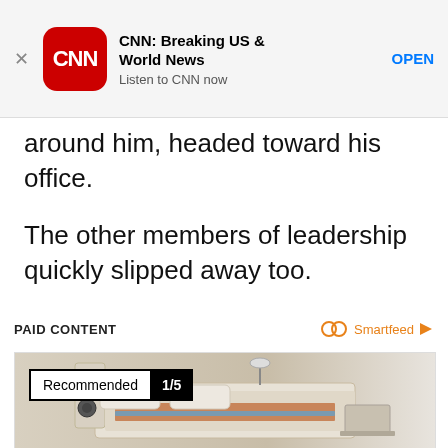[Figure (screenshot): CNN Breaking News app banner ad with CNN logo, title 'CNN: Breaking US & World News', subtitle 'Listen to CNN now', and OPEN button]
around him, headed toward his office.
The other members of leadership quickly slipped away too.
PAID CONTENT
[Figure (photo): Advertisement showing a luxury smart bed with speakers, massage features, and a laptop. Badge reads 'Recommended 1/5']